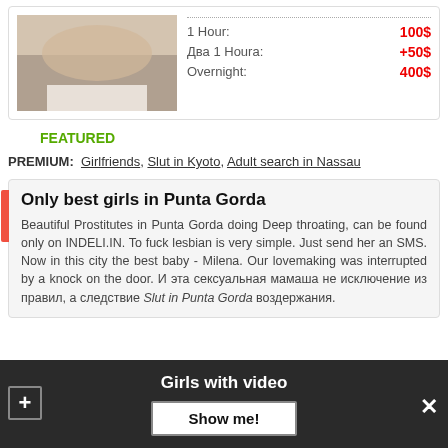[Figure (photo): Partial body photo in card listing]
1 Hour: 100$
Два 1 Houra: +50$
Overnight: 400$
FEATURED
PREMIUM: Girlfriends, Slut in Kyoto, Adult search in Nassau
Only best girls in Punta Gorda
Beautiful Prostitutes in Punta Gorda doing Deep throating, can be found only on INDELI.IN. To fuck lesbian is very simple. Just send her an SMS. Now in this city the best baby - Milena. Our lovemaking was interrupted by a knock on the door. И эта сексуальная мамаша не исключение из правил, а следствие Slut in Punta Gorda воздержания.
Girls with video
Show me!